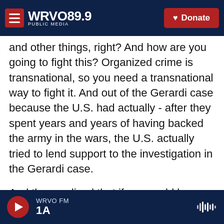WRVO PUBLIC MEDIA 89.9 | Donate
and other things, right? And how are you going to fight this? Organized crime is transnational, so you need a transnational way to fight it. And out of the Gerardi case because the U.S. had actually - after they spent years and years of having backed the army in the wars, the U.S. actually tried to lend support to the investigation in the Gerardi case.
And they realized that if you could have international support for a team of prosecutors, you had a chance to fight some of these crimes. And so the International Commission Against Organized Crime - and Against Corruption and Impunity in
WRVO FM | 1A